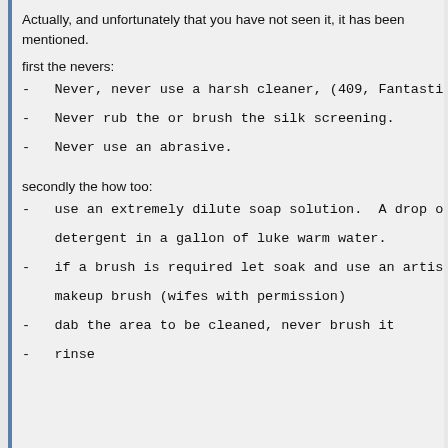Actually, and unfortunately that you have not seen it, it has been mentioned.
first the nevers:
-   Never, never use a harsh cleaner, (409, Fantasti
-   Never rub the or brush the silk screening.
-   Never use an abrasive.
secondly the how too:
-   use an extremely dilute soap solution.  A drop o
detergent in a gallon of luke warm water.
-   if a brush is required let soak and use an artis
makeup brush (wifes with permission)
-   dab the area to be cleaned, never brush it
-   rinse